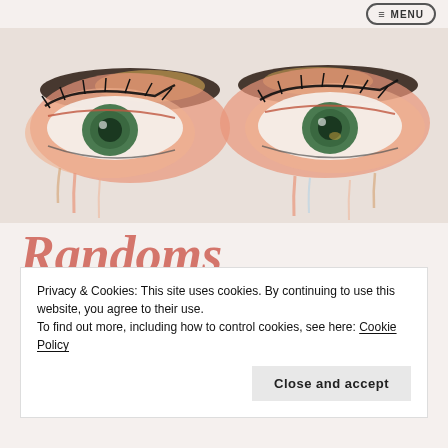≡ MENU
[Figure (illustration): Watercolor painting of two large expressive eyes with pink, orange, and peach tones, with melting/dripping paint effects, on a light background]
Randoms by a Random
Privacy & Cookies: This site uses cookies. By continuing to use this website, you agree to their use.
To find out more, including how to control cookies, see here: Cookie Policy
Close and accept